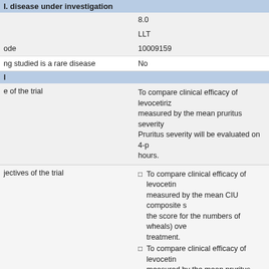|  | 8.0 |
|  | LLT |
| ode | 10009159 |
| ng studied is a rare disease | No |
| l |  |
| e of the trial | To compare clinical efficacy of levocetiriz... measured by the mean pruritus severity... Pruritus severity will be evaluated on 4-p... hours. |
| jectives of the trial | To compare clinical efficacy of levocetin... measured by the mean CIU composite s... the score for the numbers of wheals) ove... treatment.
To compare clinical efficacy of levocetin... measured by the mean pruritus severity
To compare clinical efficacy of levocetin... measured by the mean score for pruritus |